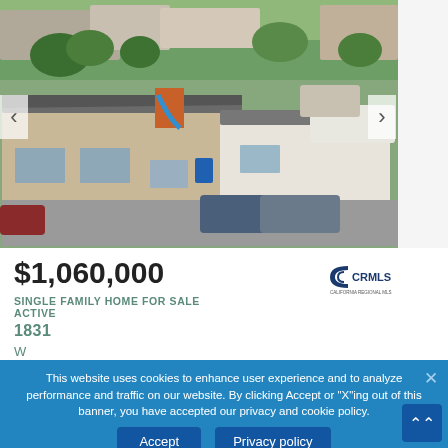[Figure (photo): Aerial drone view of a single family residential property with tan/beige exterior, grey roof, paved parking area with several cars, and a small playground with blue slide. Surrounding area shows neighboring homes, trees, and a light brown open lot.]
$1,060,000
SINGLE FAMILY HOME FOR SALE
ACTIVE
[Figure (logo): CRMLS logo - California Regional Multiple Listing Service logo in dark navy blue with curved lines forming a stylized crescent/C shape]
1831
W
This website uses cookies to enhance user experience and to analyze performance and traffic on our website. By clicking Accept or "X"ing out of this banner, you have accepted our privacy and cookie policy.